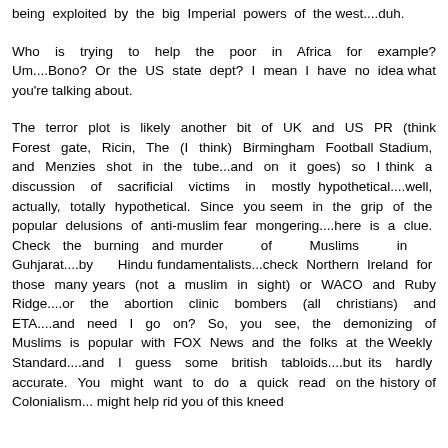being exploited by the big Imperial powers of the west....duh.
Who is trying to help the poor in Africa for example? Um....Bono? Or the US state dept? I mean I have no idea what you're talking about.
The terror plot is likely another bit of UK and US PR (think Forest gate, Ricin, The (I think) Birmingham Football Stadium, and Menzies shot in the tube...and on it goes) so I think a discussion of sacrificial victims in mostly hypothetical....well, actually, totally hypothetical. Since you seem in the grip of the popular delusions of anti-muslim fear mongering....here is a clue. Check the burning and murder of Muslims in Guhjarat....by Hindu fundamentalists...check Northern Ireland for those many years (not a muslim in sight) or WACO and Ruby Ridge....or the abortion clinic bombers (all christians) and ETA....and need I go on? So, you see, the demonizing of Muslims is popular with FOX News and the folks at the Weekly Standard....and I guess some british tabloids....but its hardly accurate. You might want to do a quick read on the history of Colonialism... might help rid you of this kneed